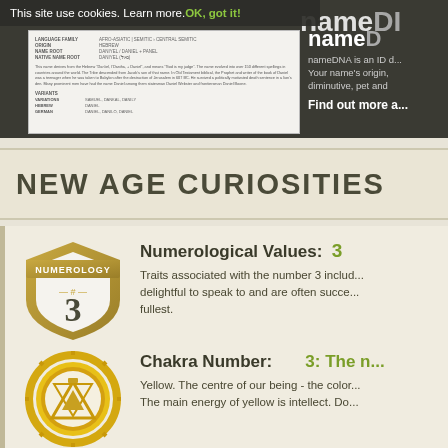[Figure (screenshot): Screenshot of a name etymology document page showing language family, origin, name root fields and body text with variants section]
This site use cookies. Learn more. OK, got it!
nameDNA is an ID d... Your name's origin, diminutive, pet and... Find out more a...
NEW AGE CURIOSITIES
[Figure (illustration): Numerology shield badge with number 3 and decorative hash symbol]
Numerological Values: 3
Traits associated with the number 3 includ... delightful to speak to and are often succe... fullest.
[Figure (illustration): Yellow chakra symbol badge with geometric design]
Chakra Number: 3: The n...
Yellow. The centre of our being - the color... The main energy of yellow is intellect. Do...